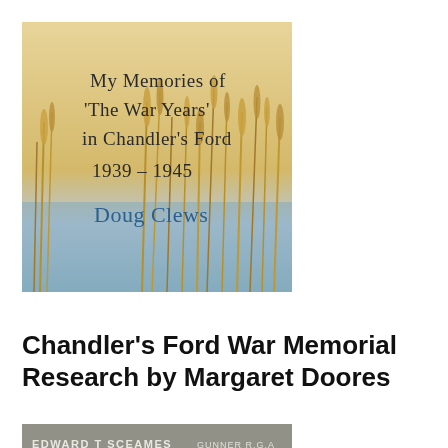[Figure (illustration): Book cover showing 'My Memories of The War Years in Chandler's Ford 1939 – 1945' by Doug Clews, with a background of reeds/grasses against a blue sky]
Chandler's Ford War Memorial Research by Margaret Doores
[Figure (photo): Partial photo of a war memorial stone with engraved text, partially visible: 'EDWARD T SCEANES GUNNER R.G.A']